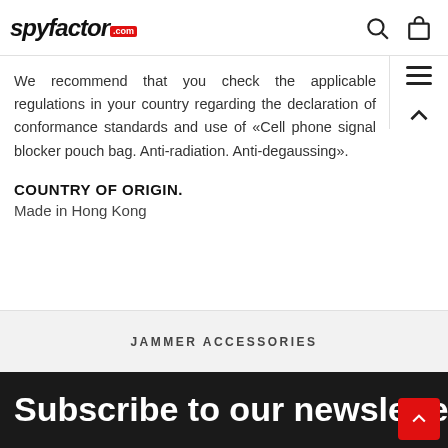spyfactor.com
We recommend that you check the applicable regulations in your country regarding the declaration of conformance standards and use of «Cell phone signal blocker pouch bag. Anti-radiation. Anti-degaussing».
COUNTRY OF ORIGIN.
Made in Hong Kong
JAMMER ACCESSORIES
Subscribe to our newsletter